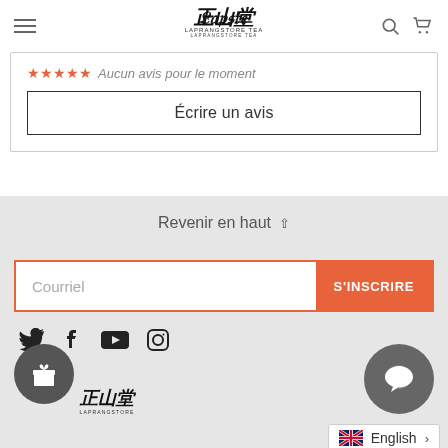Laprangstore Tea - navigation header with menu, logo, search and cart icons
Aucun avis pour le moment
Écrire un avis
Revenir en haut
Courriel
S'INSCRIRE
[Figure (logo): Social media icons: Twitter, Facebook, YouTube, Instagram]
[Figure (illustration): Gift reward circle button and Laprangstore logo at bottom left]
[Figure (illustration): Chat support bubble icon at bottom right]
English >